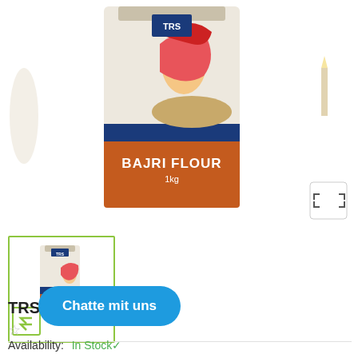[Figure (photo): TRS Bajri Flour 1kg product bag - main large image showing orange/blue packaging with Indian woman illustration and text 'BAJRI FLOUR 1kg']
[Figure (photo): TRS Bajri Flour 1kg product thumbnail image in green-bordered box with up-arrow navigation button]
TRS Bajri Flour - 1kg
Availability: In Stock✓
Chatte mit uns